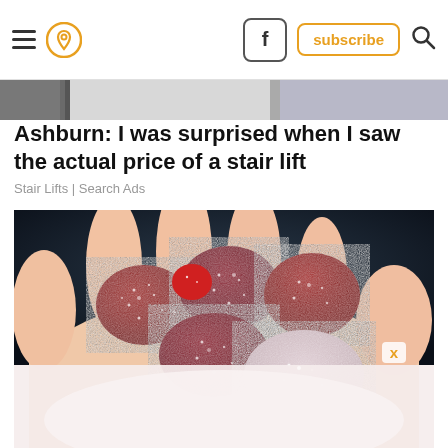Navigation bar with hamburger menu, location pin icon, Facebook button, subscribe button, search icon
[Figure (photo): Partial top image strip showing a blurred street/indoor scene]
Ashburn: I was surprised when I saw the actual price of a stair lift
Stair Lifts | Search Ads
[Figure (photo): A hand holding several sugar-coated dark red/pink gummy candies against a blurred dark background, with a white overlay at the bottom. An X close button appears in the lower right of the image.]